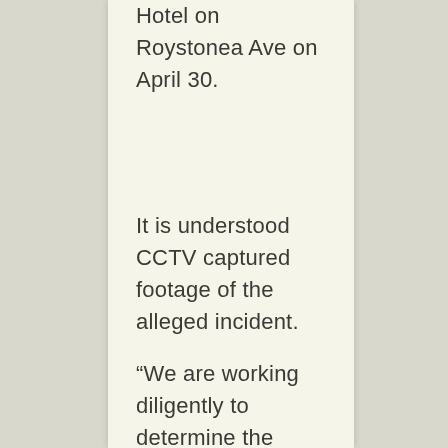Hotel on Roystonea Ave on April 30.
It is understood CCTV captured footage of the alleged incident.
“We are working diligently to determine the facts in this situation, and are complying with all orders, policies, and agencies involved,” the MRF-D spokesman said.